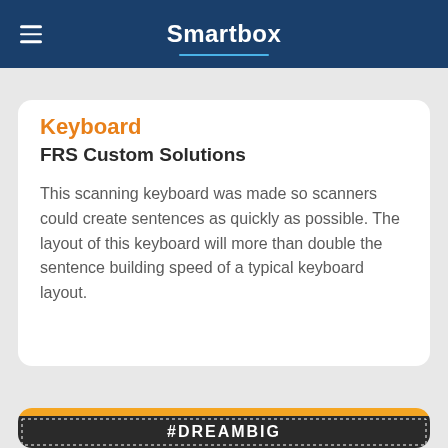Smartbox
Keyboard
FRS Custom Solutions
This scanning keyboard was made so scanners could create sentences as quickly as possible. The layout of this keyboard will more than double the sentence building speed of a typical keyboard layout.
[Figure (illustration): #DREAMBIG banner image with dark background, dotted border, and orange top bar]